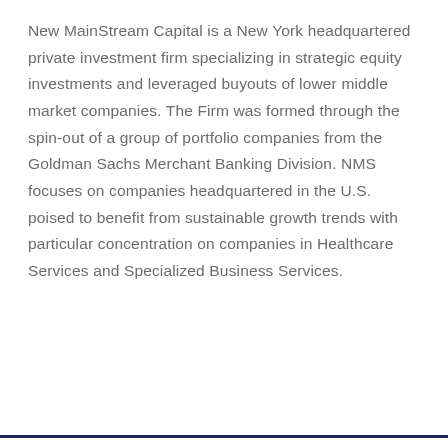New MainStream Capital is a New York headquartered private investment firm specializing in strategic equity investments and leveraged buyouts of lower middle market companies. The Firm was formed through the spin-out of a group of portfolio companies from the Goldman Sachs Merchant Banking Division. NMS focuses on companies headquartered in the U.S. poised to benefit from sustainable growth trends with particular concentration on companies in Healthcare Services and Specialized Business Services.